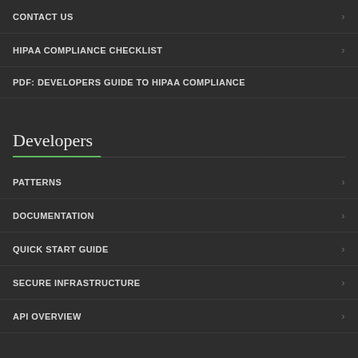CONTACT US
HIPAA COMPLIANCE CHECKLIST
PDF: DEVELOPERS GUIDE TO HIPAA COMPLIANCE
Developers
PATTERNS
DOCUMENTATION
QUICK START GUIDE
SECURE INFRASTRUCTURE
API OVERVIEW
Latest Posts